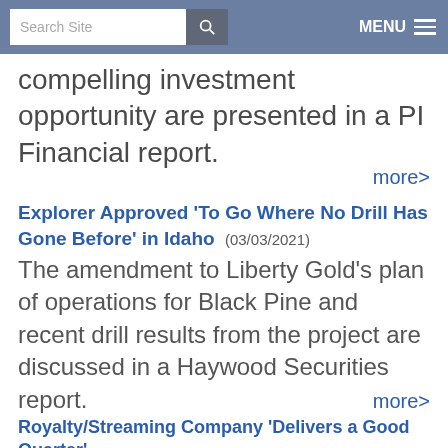Search Site | MENU
compelling investment opportunity are presented in a PI Financial report.
more>
Explorer Approved 'To Go Where No Drill Has Gone Before' in Idaho (03/03/2021)
The amendment to Liberty Gold's plan of operations for Black Pine and recent drill results from the project are discussed in a Haywood Securities report.
more>
Royalty/Streaming Company 'Delivers a Good Quarter' (03/03/2021)
Nomad Royalty Company's recently released financials and progress at one of the company's